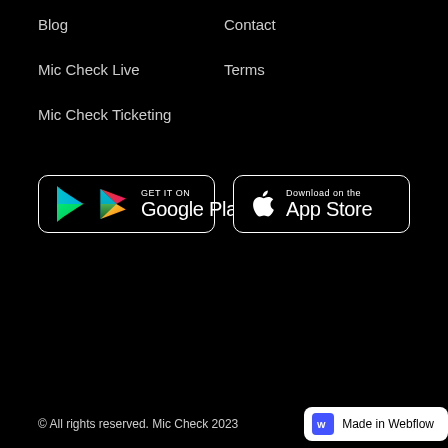Blog
Contact
Mic Check Live
Terms
Mic Check Ticketing
[Figure (logo): Google Play store badge with colorful triangle play icon, text 'GET IT ON Google Play']
[Figure (logo): Apple App Store badge with white Apple logo, text 'Download on the App Store']
© All rights reserved. Mic Check 2023   Made in Webflow